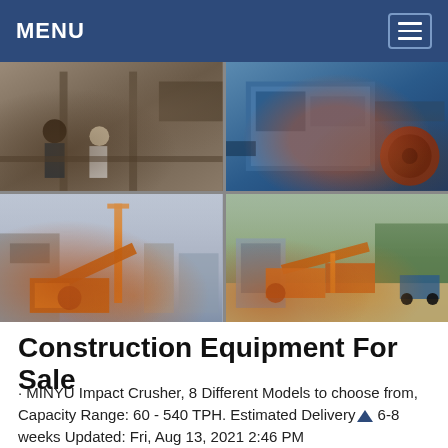MENU
[Figure (photo): Four-panel photo collage showing construction and mining equipment: top-left shows workers inspecting machinery in a factory, top-right shows a large blue impact crusher machine, bottom-left shows an orange construction plant with conveyor belts and a crane tower, bottom-right shows an outdoor quarry site with orange processing equipment.]
Construction Equipment For Sale
· MINYU Impact Crusher, 8 Different Models to choose from, Capacity Range: 60 - 540 TPH. Estimated Delivery 6-8 weeks Updated: Fri, Aug 13, 2021 2:46 PM